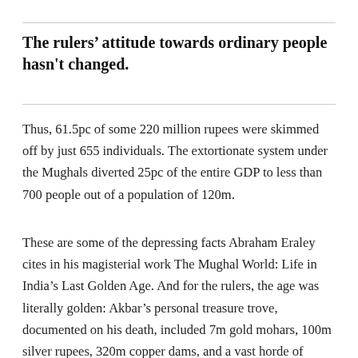The rulers' attitude towards ordinary people hasn't changed.
Thus, 61.5pc of some 220 million rupees were skimmed off by just 655 individuals. The extortionate system under the Mughals diverted 25pc of the entire GDP to less than 700 people out of a population of 120m.
These are some of the depressing facts Abraham Eraley cites in his magisterial work The Mughal World: Life in India's Last Golden Age. And for the rulers, the age was literally golden: Akbar's personal treasure trove, documented on his death, included 7m gold mohars, 100m silver rupees, 320m copper dams, and a vast horde of precious gemstones, ornaments and gold and silver bullion.